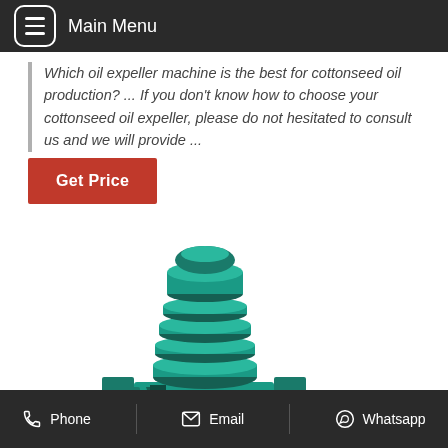Main Menu
Which oil expeller machine is the best for cottonseed oil production? ... If you don't know how to choose your cottonseed oil expeller, please do not hesitated to consult us and we will provide ...
Get Price
[Figure (photo): Green industrial oil expeller machine with a large cylindrical top section and mechanical press components below]
Phone | Email | Whatsapp